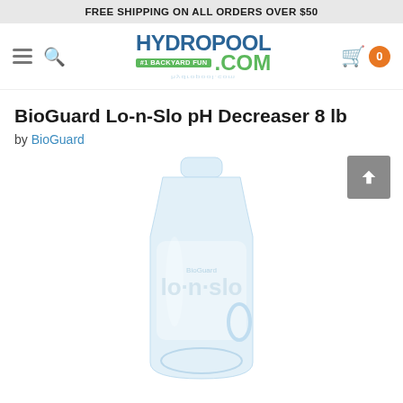FREE SHIPPING ON ALL ORDERS OVER $50
[Figure (logo): Hydropool.com logo with '#1 Backyard Fun' tagline, blue and green colors, with reflection effect below]
BioGuard Lo-n-Slo pH Decreaser 8 lb
by BioGuard
[Figure (photo): BioGuard Lo-n-Slo pH Decreaser 8 lb product bottle, white/light blue translucent container with label text, shown as a large jug/bottle]